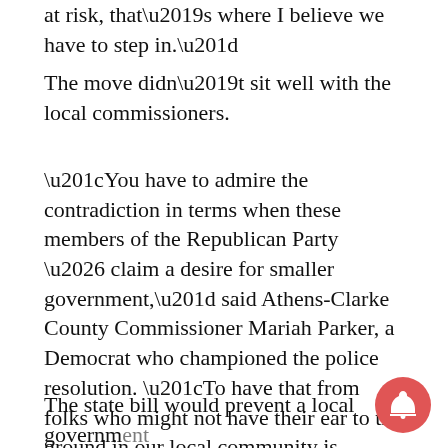at risk, that’s where I believe we have to step in.”
The move didn’t sit well with the local commissioners.
“You have to admire the contradiction in terms when these members of the Republican Party … claim a desire for smaller government,” said Athens-Clarke County Commissioner Mariah Parker, a Democrat who championed the police resolution. “To have that from folks who might not have their ear to the ground in our local community is frustrating.”
The state bill would prevent a local government from cutting its police budget by more than 5%…